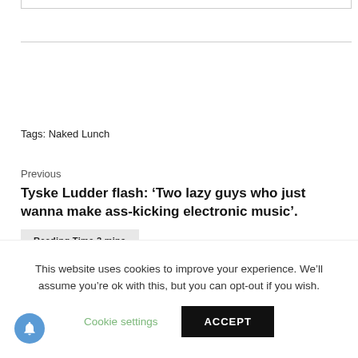Tags: Naked Lunch
Previous
Tyske Ludder flash: 'Two lazy guys who just wanna make ass-kicking electronic music'.
Reading Time 2 mins
Next
This website uses cookies to improve your experience. We'll assume you're ok with this, but you can opt-out if you wish.
Cookie settings
ACCEPT